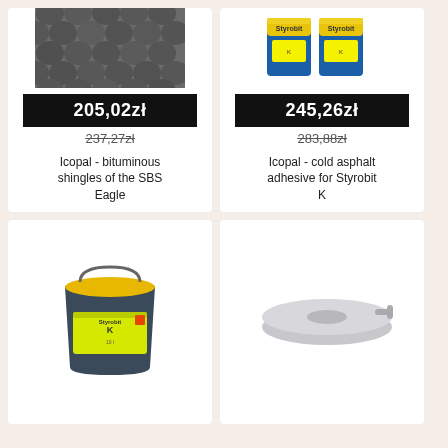[Figure (photo): Bituminous shingles product image - dark gray scale-patterned roofing shingles]
205,02zł
237,27zł
Icopal - bituminous shingles of the SBS Eagle
[Figure (photo): Two yellow and blue cans of Styrobit K cold asphalt adhesive]
245,26zł
283,88zł
Icopal - cold asphalt adhesive for Styrobit K
[Figure (photo): Large dark gray bucket with yellow lid containing Styrobit K adhesive]
[Figure (photo): Gray round flat roll or disk-shaped product]